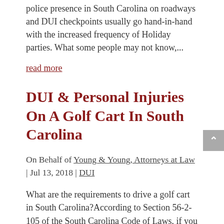police presence in South Carolina on roadways and DUI checkpoints usually go hand-in-hand with the increased frequency of Holiday parties. What some people may not know,...
read more
DUI & Personal Injuries On A Golf Cart In South Carolina
On Behalf of Young & Young, Attorneys at Law | Jul 13, 2018 | DUI
What are the requirements to drive a golf cart in South Carolina?According to Section 56-2-105 of the South Carolina Code of Laws, if you are